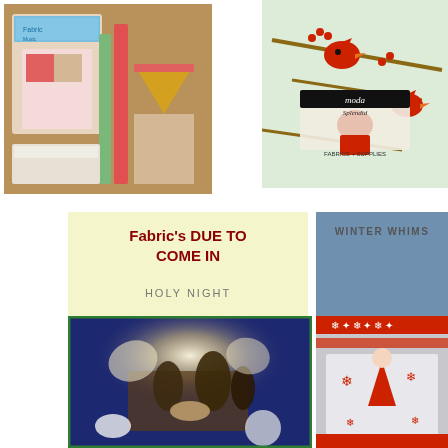[Figure (photo): Quilt pattern book, fabric swatches with red, yellow, green and dotted patterns on wooden surface]
[Figure (photo): Moda Splendid fabric collection with cardinal birds on branches with red berries, Moda Fabrics & Supplies label visible]
Fabric's DUE TO COME IN
HOLY NIGHT
[Figure (photo): Holy Night nativity scene fabric panel showing nativity with glowing star]
WINTER WHIMS
[Figure (photo): Winter Whimsy fabric panel with gnome/tomte figure, snowflakes, and red Nordic patterns on grey background]